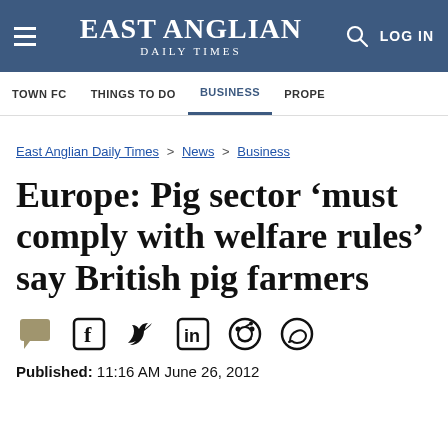EAST ANGLIAN DAILY TIMES
TOWN FC  THINGS TO DO  BUSINESS  PROPE
East Anglian Daily Times > News > Business
Europe: Pig sector ‘must comply with welfare rules’ say British pig farmers
Published: 11:16 AM June 26, 2012